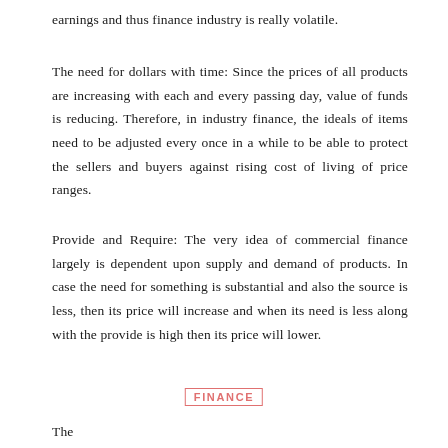earnings and thus finance industry is really volatile.
The need for dollars with time: Since the prices of all products are increasing with each and every passing day, value of funds is reducing. Therefore, in industry finance, the ideals of items need to be adjusted every once in a while to be able to protect the sellers and buyers against rising cost of living of price ranges.
Provide and Require: The very idea of commercial finance largely is dependent upon supply and demand of products. In case the need for something is substantial and also the source is less, then its price will increase and when its need is less along with the provide is high then its price will lower.
FINANCE